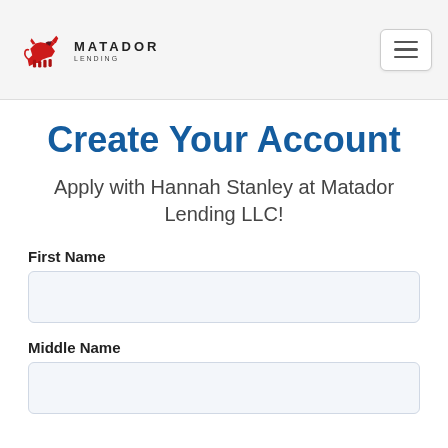[Figure (logo): Matador Lending LLC logo with red bull and text MATADOR LENDING]
Create Your Account
Apply with Hannah Stanley at Matador Lending LLC!
First Name
Middle Name